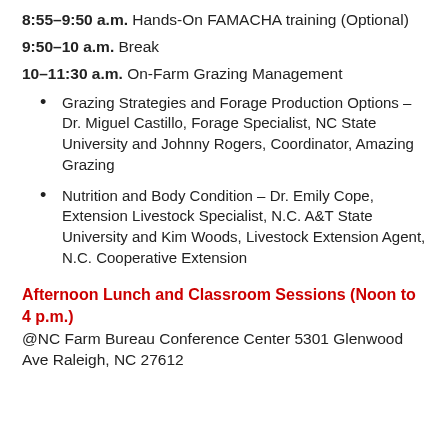8:55–9:50 a.m. Hands-On FAMACHA training (Optional)
9:50–10 a.m. Break
10–11:30 a.m. On-Farm Grazing Management
Grazing Strategies and Forage Production Options – Dr. Miguel Castillo, Forage Specialist, NC State University and Johnny Rogers, Coordinator, Amazing Grazing
Nutrition and Body Condition – Dr. Emily Cope, Extension Livestock Specialist, N.C. A&T State University and Kim Woods, Livestock Extension Agent, N.C. Cooperative Extension
Afternoon Lunch and Classroom Sessions (Noon to 4 p.m.)
@NC Farm Bureau Conference Center 5301 Glenwood Ave Raleigh, NC 27612